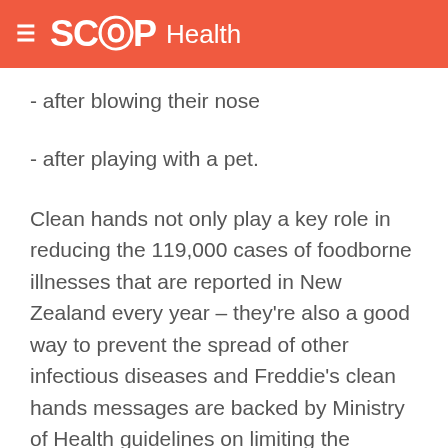SCOOP Health
- after blowing their nose
- after playing with a pet.
Clean hands not only play a key role in reducing the 119,000 cases of foodborne illnesses that are reported in New Zealand every year – they're also a good way to prevent the spread of other infectious diseases and Freddie's clean hands messages are backed by Ministry of Health guidelines on limiting the spread of influenza and other infectious diseases.